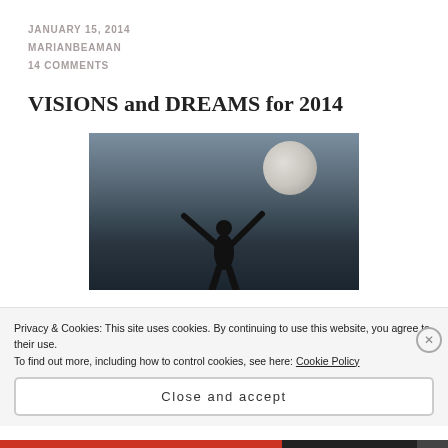JANUARY 15, 2014
MARIANBEAMAN
14 COMMENTS
VISIONS and DREAMS for 2014
[Figure (photo): Silhouette of a person with arms raised against a sky with a large moon]
Privacy & Cookies: This site uses cookies. By continuing to use this website, you agree to their use. To find out more, including how to control cookies, see here: Cookie Policy
Close and accept